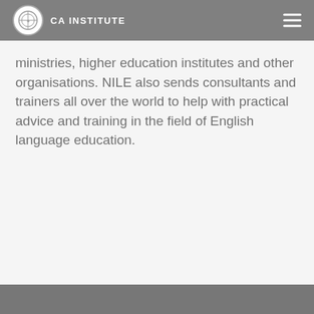CA Institute
ministries, higher education institutes and other organisations. NILE also sends consultants and trainers all over the world to help with practical advice and training in the field of English language education.